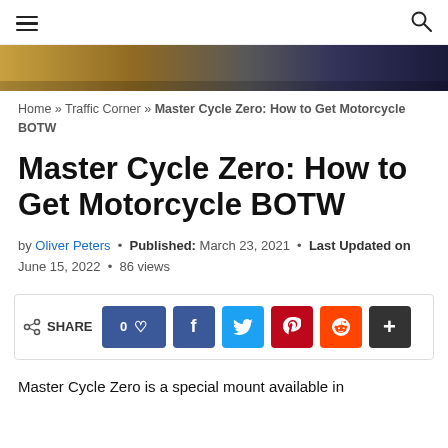≡   🔍
[Figure (photo): Hero image showing a motorcycle or game scene with warm and dark colors]
Home » Traffic Corner » Master Cycle Zero: How to Get Motorcycle BOTW
Master Cycle Zero: How to Get Motorcycle BOTW
by Oliver Peters • Published: March 23, 2021 • Last Updated on June 15, 2022 • 86 views
[Figure (infographic): Share bar with like button showing 0 likes, Facebook, Twitter, Pinterest, Reddit, and more buttons]
Master Cycle Zero is a special mount available in